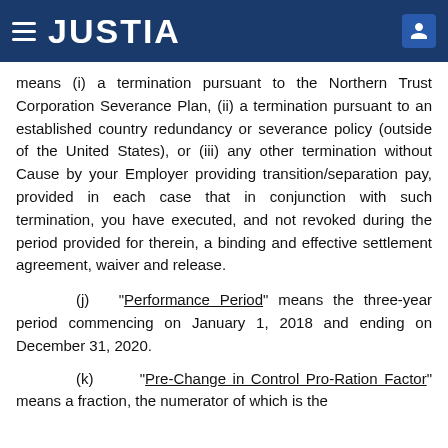JUSTIA
means (i) a termination pursuant to the Northern Trust Corporation Severance Plan, (ii) a termination pursuant to an established country redundancy or severance policy (outside of the United States), or (iii) any other termination without Cause by your Employer providing transition/separation pay, provided in each case that in conjunction with such termination, you have executed, and not revoked during the period provided for therein, a binding and effective settlement agreement, waiver and release.
(j) “Performance Period” means the three-year period commencing on January 1, 2018 and ending on December 31, 2020.
(k) "Pre-Change in Control Pro-Ration Factor" means a fraction, the numerator of which is the